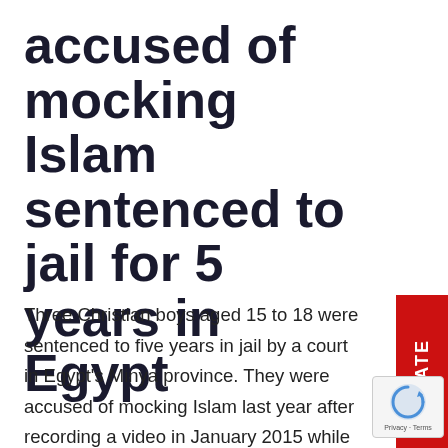accused of mocking Islam sentenced to jail for 5 years in Egypt
Three Christian boys aged 15 to 18 were sentenced to five years in jail by a court in Egypt's Minya province. They were accused of mocking Islam last year after recording a video in January 2015 while on a class trip. In the video the boys pretended to be Islamic militants by reciting Quranic prayers and pretending to